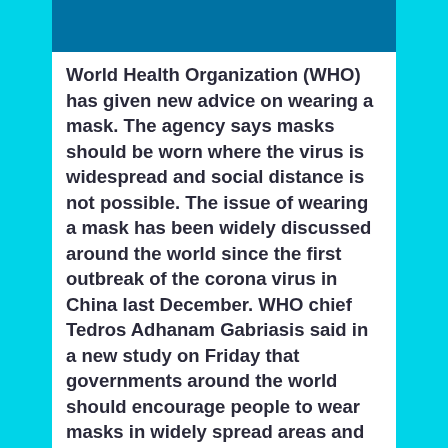[Figure (other): Blue rectangular header bar at the top of the white card]
World Health Organization (WHO) has given new advice on wearing a mask. The agency says masks should be worn where the virus is widespread and social distance is not possible. The issue of wearing a mask has been widely discussed around the world since the first outbreak of the corona virus in China last December. WHO chief Tedros Adhanam Gabriasis said in a new study on Friday that governments around the world should encourage people to wear masks in widely spread areas and where social distance is not possible.